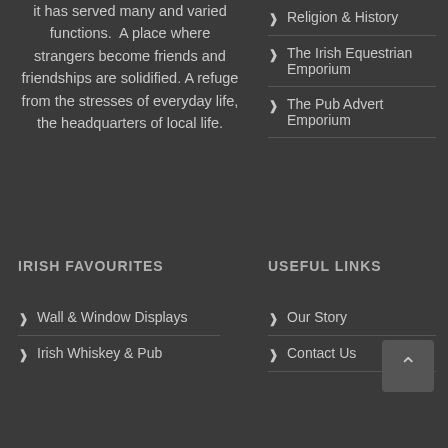it has served many and varied functions.  A place where strangers become friends and friendships are solidified. A refuge from the stresses of everyday life, the headquarters of local life.
Religion & History
The Irish Equestrian Emporium
The Pub Advert Emporium
IRISH FAVOURITES
USEFUL LINKS
Wall & Window Displays
Our Story
Contact Us
Irish Whiskey & Pub